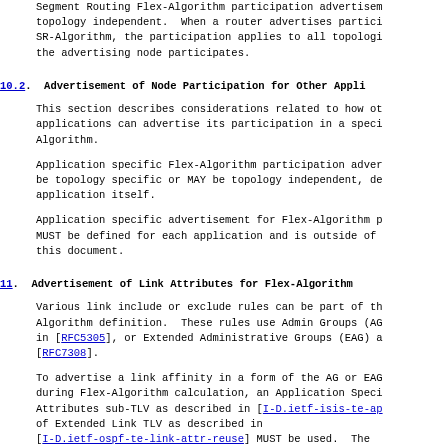Segment Routing Flex-Algorithm participation advertisement is topology independent.  When a router advertises participation in an SR-Algorithm, the participation applies to all topologies in which the advertising node participates.
10.2.  Advertisement of Node Participation for Other Applications
This section describes considerations related to how other applications can advertise its participation in a specific Flex-Algorithm.
Application specific Flex-Algorithm participation advertisement MAY be topology specific or MAY be topology independent, depending on the application itself.
Application specific advertisement for Flex-Algorithm participation MUST be defined for each application and is outside of the scope of this document.
11.  Advertisement of Link Attributes for Flex-Algorithm
Various link include or exclude rules can be part of the Flex-Algorithm definition.  These rules use Admin Groups (AG) as defined in [RFC5305], or Extended Administrative Groups (EAG) as defined in [RFC7308].
To advertise a link affinity in a form of the AG or EAG to be used during Flex-Algorithm calculation, an Application Specific Link Attributes sub-TLV as described in [I-D.ietf-isis-te-app] as part of Extended Link TLV as described in [I-D.ietf-ospf-te-link-attr-reuse] MUST be used.  The